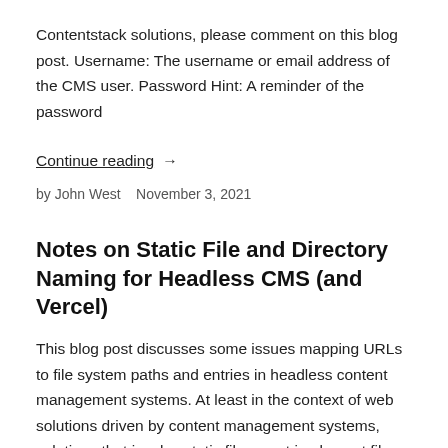Contentstack solutions, please comment on this blog post. Username: The username or email address of the CMS user. Password Hint: A reminder of the password
Continue reading →
by John West   November 3, 2021
Notes on Static File and Directory Naming for Headless CMS (and Vercel)
This blog post discusses some issues mapping URLs to file system paths and entries in headless content management systems. At least in the context of web solutions driven by content management systems, solutions that involve static files must implement file and directory naming rules. If you have experience or